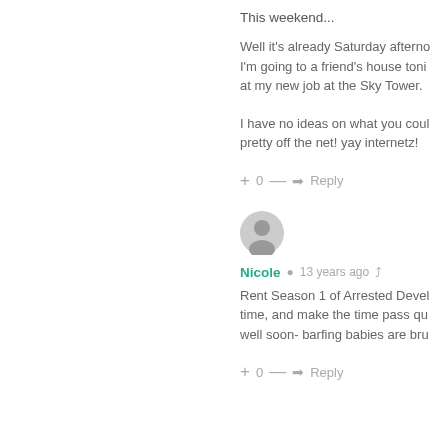This weekend...
Well it's already Saturday afternoon. I'm going to a friend's house tonight. at my new job at the Sky Tower.
I have no ideas on what you could do, pretty off the net! yay internetz!
+ 0 — ➜ Reply
[Figure (illustration): User avatar circle with person silhouette icon]
Nicole  13 years ago  share
Rent Season 1 of Arrested Development time, and make the time pass quickly well soon- barfing babies are brutal
+ 0 — ➜ Reply